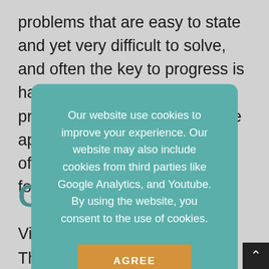problems that are easy to state and yet very difficult to solve, and often the key to progress is hard work and ingenuity in problem solving rather than the application of sophisticated machinery. [There are] limits of the mathematical tools available for studying networks. fo...
G...
Vi...
Th...
nodes) some of which are connected by edg...
arguably began in the 18th century with...
[Figure (screenshot): Cookie consent modal dialog box with teal background. Text reads: 'Our website use cookies to improve your experience. Our website may also include cookies from third parties like Google Analytics, and Youtube. By using the website, you consent to the use of cookies.' Below is an orange 'AGREE' button.]